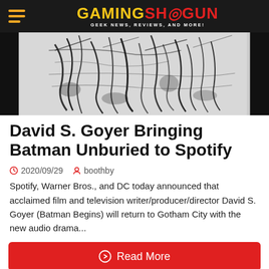Gaming Shogun — Geek News, Reviews, and More!
[Figure (photo): Hero image: black and white abstract scratchy artwork resembling bare tree branches or dark paint strokes on a light background, with dark border surroundings.]
David S. Goyer Bringing Batman Unburied to Spotify
2020/09/29   boothby
Spotify, Warner Bros., and DC today announced that acclaimed film and television writer/producer/director David S. Goyer (Batman Begins) will return to Gotham City with the new audio drama...
Read More